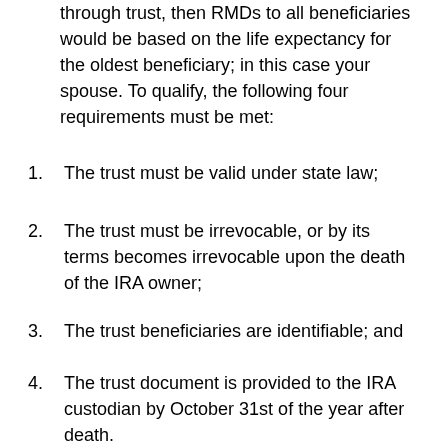through trust, then RMDs to all beneficiaries would be based on the life expectancy for the oldest beneficiary; in this case your spouse. To qualify, the following four requirements must be met:
The trust must be valid under state law;
The trust must be irrevocable, or by its terms becomes irrevocable upon the death of the IRA owner;
The trust beneficiaries are identifiable; and
The trust document is provided to the IRA custodian by October 31st of the year after death.
However, keep in mind that your children (age 41 and 38) will have to use the life expectancy of your wife once you pass